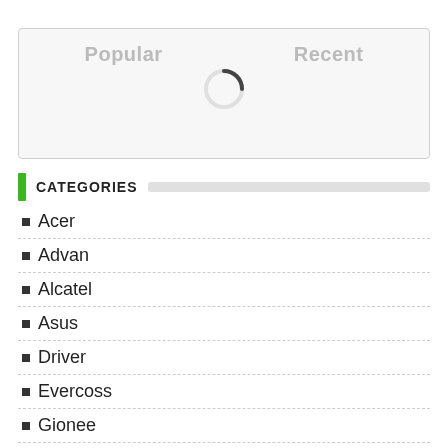[Figure (screenshot): Tab bar with Popular and Recent labels and a loading spinner in the center]
CATEGORIES
Acer
Advan
Alcatel
Asus
Driver
Evercoss
Gionee
Huawei
Infinix
Lenovo
Meizu